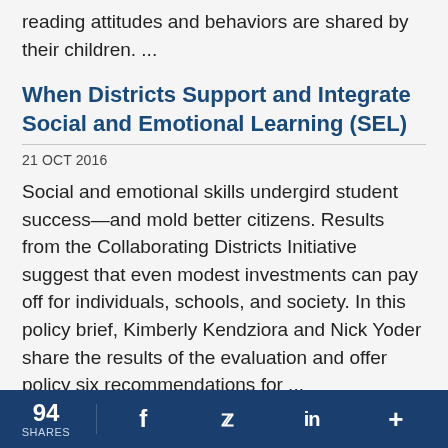Webinar recording examine whether parents' reading attitudes and behaviors are shared by their children. ...
When Districts Support and Integrate Social and Emotional Learning (SEL)
21 OCT 2016
Social and emotional skills undergird student success—and mold better citizens. Results from the Collaborating Districts Initiative suggest that even modest investments can pay off for individuals, schools, and society. In this policy brief, Kimberly Kendziora and Nick Yoder share the results of the evaluation and offer policy six recommendations for ...
Long Story Short: How Should Schools Use
94 SHARES  f  t  in  +